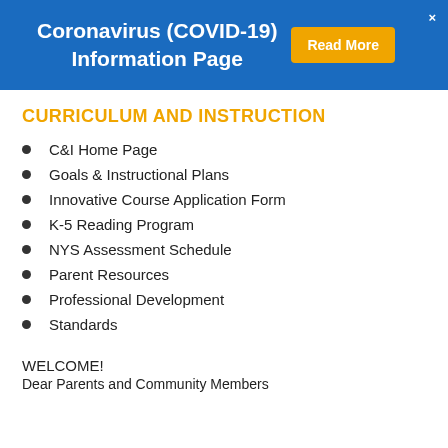Coronavirus (COVID-19) Information Page
CURRICULUM AND INSTRUCTION
C&I Home Page
Goals & Instructional Plans
Innovative Course Application Form
K-5 Reading Program
NYS Assessment Schedule
Parent Resources
Professional Development
Standards
WELCOME!
Dear Parents and Community Members